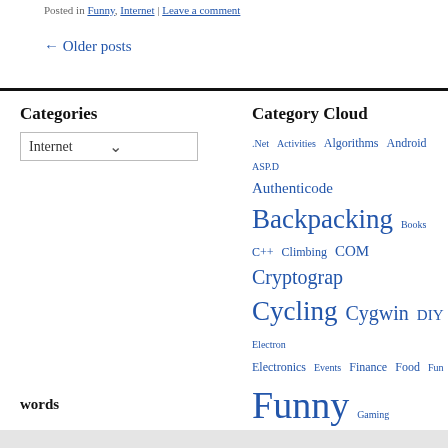Posted in Funny, Internet | Leave a comment
← Older posts
Categories
Internet (dropdown)
Category Cloud
.Net Activities Algorithms Android ASP.D Authenticode Backpacking Books C++ Climbing COM Cryptograp Cycling Cygwin DIY Electron Electronics Events Finance Food Fun Funny Gaming Hardware Injury Internet Linux Motorcycles Mu Network OS X Other Photography Programming Scripting Security Technology Travel Uncategorized Win32 Windows Wordpress 日本語
words